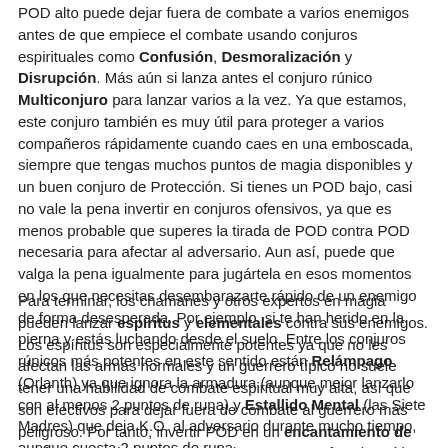POD alto puede dejar fuera de combate a varios enemigos antes de que empiece el combate usando conjuros espirituales como Confusión, Desmoralización y Disrupción. Más aún si lanza antes el conjuro rúnico Multiconjuro para lanzar varios a la vez. Ya que estamos, este conjuro también es muy útil para proteger a varios compañeros rápidamente cuando caes en una emboscada, siempre que tengas muchos puntos de magia disponibles y un buen conjuro de Protección. Si tienes un POD bajo, casi no vale la pena invertir en conjuros ofensivos, ya que es menos probable que superes la tirada de POD contra POD necesaria para afectar al adversario. Aun así, puede que valga la pena igualmente para jugártela en esos momentos en los que necesitas desembarazarte rápido de un enemigo de forma desesperada. Por ejemplo, si te han herido en la pierna y estás luchando desde el suelo. Entre los conjuros rúnicos más potentes en este sentido están Relámpago (Orlanth) ya que ignora la armadura (aunque mejor lanzarlo con al menos 2 puntos de runa) y Estallido Mental (las Siete Madres) que deja K.O. al adversario durante mucho tiempo, aunque cuesta 2 puntos de runa.
Para terminar, los chamanes y otros expertos en magia pueden lanzar espíritus y elementales contra sus enemigos. Los espíritus son especialmente potentes ya que no les afectan las armas normales y un guerrero típico no suele tener una habilidad de combate espiritual muy alta, así que son efectivos para dejar fuera de combate al guerrero más peligroso. Por tanto, invertir POD en un encantamiento de atadura y en el conjuro apropiado para controlar el espíritu puede ser muy útil. Por otro lado, si te ataca un espíritu, usa el conjuro rúnico común